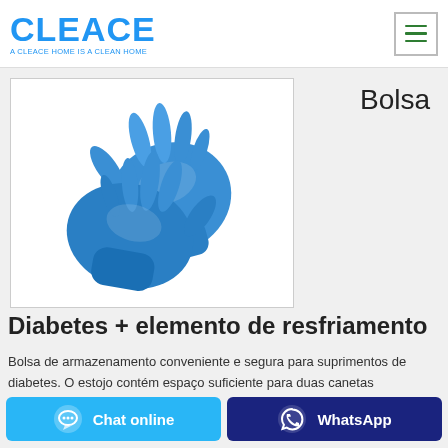[Figure (logo): CLEACE logo in blue with tagline 'A CLEACE HOME IS A CLEAN HOME']
Bolsa
[Figure (photo): Two blue nitrile/latex gloves on white background]
Diabetes + elemento de resfriamento
Bolsa de armazenamento conveniente e segura para suprimentos de diabetes. O estojo contém espaço suficiente para duas canetas
Chat online
WhatsApp